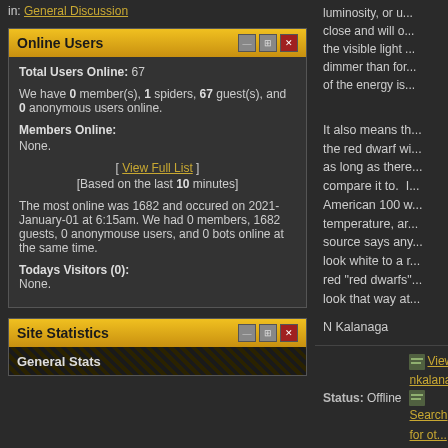in: General Discussion
Online Users
Total Users Online: 67
We have 0 member(s), 1 spiders, 67 guest(s), and 0 anonymous users online.
Members Online:
None.
[ View Full List ]
[Based on the last 10 minutes]
The most online was 1682 and occured on 2021-January-01 at 6:15am. We had 0 members, 1682 guests, 0 anonymouse users, and 0 bots online at the same time.
Todays Visitors (0):
None.
Site Statistics
General Stats
luminosity, or u...
close and will o...
the visible light ...
dimmer than for...
of the energy is...
It also means th...
the red dwarf wi...
as long as there...
compare it to. I...
American 100 w...
temperature, ar...
source says any...
look white to a r...
red "red dwarfs"...
look that way at...
N Kalanaga
Status: Offline
View nkalana...
Search for ot...
karl.garnham1
Posted: 2012-No...
11:38am | IP Log...
Cosmic Enigma
Wow thats ama...
there is one thi...
I have wanted to...
what is your
favourite star or...
(mines Eta Cari...
as it looks so u...
Joined: 2006-June-02
Location: United Kingdom
Posts: 1334